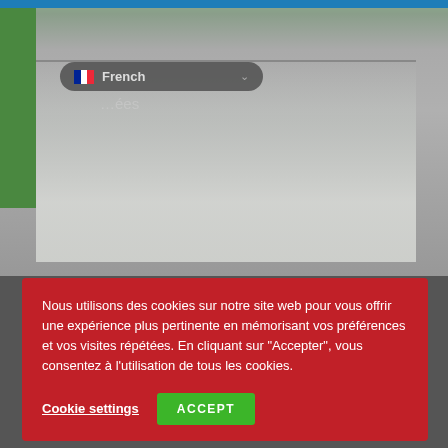[Figure (screenshot): Website screenshot showing a French-language site about modular/shipping container buildings. Top portion shows a photo of white modular/container buildings against a grey sky. A language selector dropdown shows 'French' with French flag. A red cookie consent banner overlays the middle of the page. Below the banner is another photo showing a modern wooden shipping container building rendered in 3D. A location tag reads 'Conteneurs Shipping Aménagés'.]
Nous utilisons des cookies sur notre site web pour vous offrir une expérience plus pertinente en mémorisant vos préférences et vos visites répétées. En cliquant sur "Accepter", vous consentez à l'utilisation de tous les cookies.
Cookie settings
ACCEPT
Conteneurs Shipping Aménagés